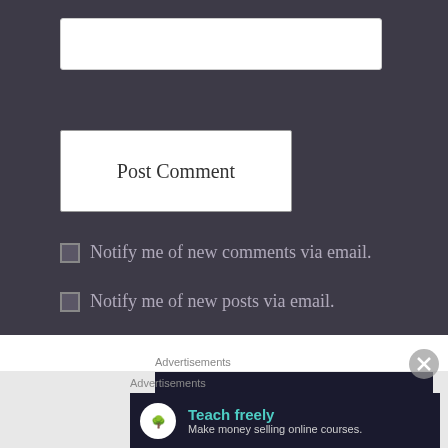[Figure (screenshot): Text input field (white rectangle) at the top of a dark comment form]
[Figure (screenshot): Post Comment button — white rectangle with serif text]
Notify me of new comments via email.
Notify me of new posts via email.
Advertisements
[Figure (screenshot): Sensei advertisement banner — dark background with circle logo and 'sensei' text]
Advertisements
[Figure (screenshot): Sensei advertisement banner — dark background with circle logo, 'Teach freely' in teal and 'Make money selling online courses.' in light text]